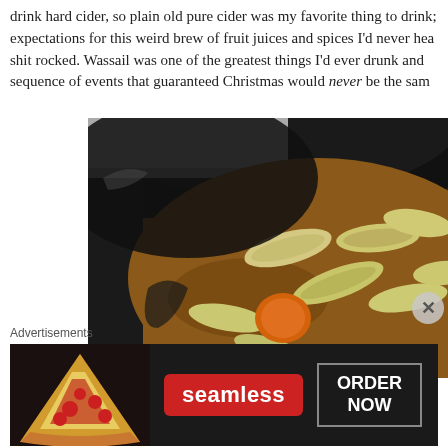drink hard cider, so plain old pure cider was my favorite thing to drink; expectations for this weird brew of fruit juices and spices I'd never hea shit rocked. Wassail was one of the greatest things I'd ever drunk and sequence of events that guaranteed Christmas would never be the sam
[Figure (photo): Close-up photo of a dark pot or slow cooker containing spiced wassail drink with apple slices and orange pieces floating in amber-brown liquid]
Advertisements
[Figure (photo): Seamless food delivery advertisement banner with pizza image on left, red Seamless logo in center, and ORDER NOW button on right, all on dark background]